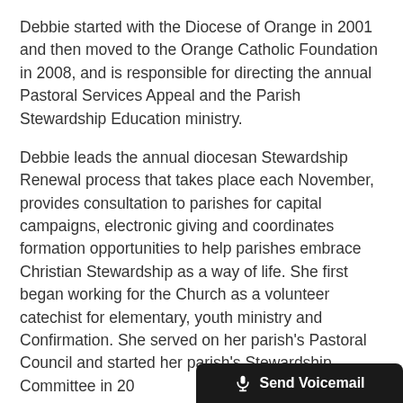Debbie started with the Diocese of Orange in 2001 and then moved to the Orange Catholic Foundation in 2008, and is responsible for directing the annual Pastoral Services Appeal and the Parish Stewardship Education ministry.
Debbie leads the annual diocesan Stewardship Renewal process that takes place each November, provides consultation to parishes for capital campaigns, electronic giving and coordinates formation opportunities to help parishes embrace Christian Stewardship as a way of life. She first began working for the Church as a volunteer catechist for elementary, youth ministry and Confirmation. She served on her parish's Pastoral Council and started her parish's Stewardship Committee in 20[cut off]